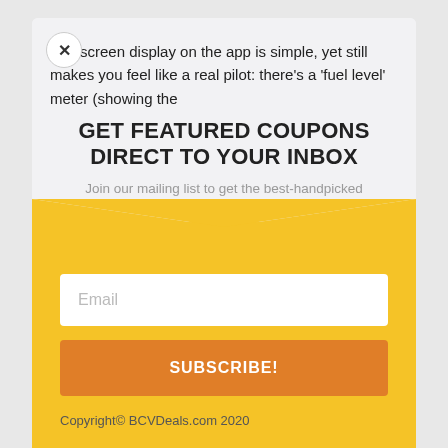The screen display on the app is simple, yet still makes you feel like a real pilot: there's a 'fuel level' meter (showing the
GET FEATURED COUPONS DIRECT TO YOUR INBOX
Join our mailing list to get the best-handpicked selection of coupons and offers once a week.
Email
SUBSCRIBE!
Copyright© BCVDeals.com 2020